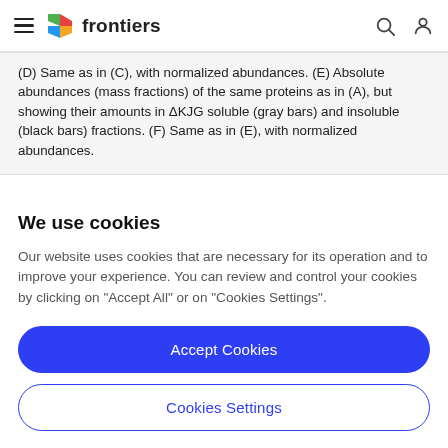frontiers
(D) Same as in (C), with normalized abundances. (E) Absolute abundances (mass fractions) of the same proteins as in (A), but showing their amounts in ΔKJG soluble (gray bars) and insoluble (black bars) fractions. (F) Same as in (E), with normalized abundances.
We use cookies
Our website uses cookies that are necessary for its operation and to improve your experience. You can review and control your cookies by clicking on "Accept All" or on "Cookies Settings".
Accept Cookies
Cookies Settings